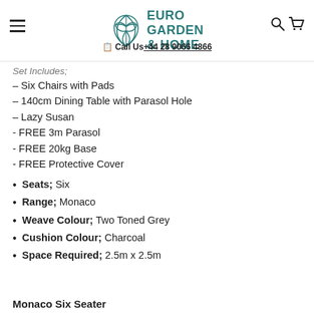Euro Garden & Home — Call Us +44 28 9066 4866
Set Includes;
– Six Chairs with Pads
– 140cm Dining Table with Parasol Hole
– Lazy Susan
- FREE 3m Parasol
- FREE 20kg Base
- FREE Protective Cover
Seats; Six
Range; Monaco
Weave Colour; Two Toned Grey
Cushion Colour; Charcoal
Space Required; 2.5m x 2.5m
Monaco Six Seater